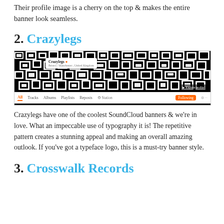Their profile image is a cherry on the top & makes the entire banner look seamless.
2. Crazylegs
[Figure (screenshot): Screenshot of Crazylegs SoundCloud profile page showing a black and white typographic banner with repeating GS letterforms, with a profile popup and navigation bar showing All, Tracks, Albums, Playlists, Reposts tabs]
Crazylegs have one of the coolest SoundCloud banners & we're in love. What an impeccable use of typography it is! The repetitive pattern creates a stunning appeal and making an overall amazing outlook. If you've got a typeface logo, this is a must-try banner style.
3. Crosswalk Records